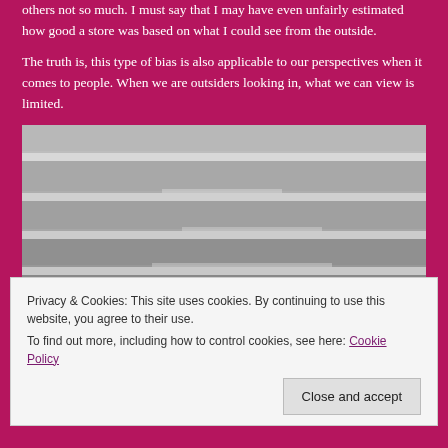others not so much. I must say that I may have even unfairly estimated how good a store was based on what I could see from the outside.
The truth is, this type of bias is also applicable to our perspectives when it comes to people. When we are outsiders looking in, what we can view is limited.
[Figure (photo): Photo of empty retail store shelves viewed from a low angle, showing multiple horizontal shelf levels mostly bare with a few items visible on the bottom shelf]
Privacy & Cookies: This site uses cookies. By continuing to use this website, you agree to their use.
To find out more, including how to control cookies, see here: Cookie Policy
Close and accept